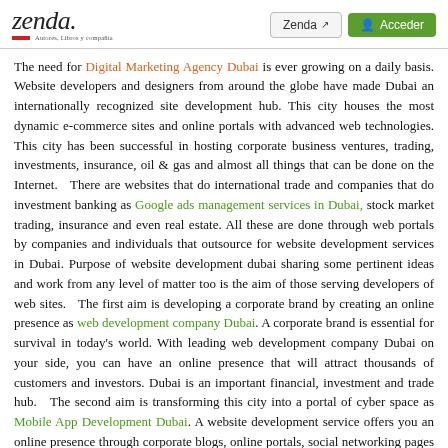zenda | Zenda [external link] | Acceder
The need for Digital Marketing Agency Dubai is ever growing on a daily basis. Website developers and designers from around the globe have made Dubai an internationally recognized site development hub. This city houses the most dynamic e-commerce sites and online portals with advanced web technologies. This city has been successful in hosting corporate business ventures, trading, investments, insurance, oil & gas and almost all things that can be done on the Internet.   There are websites that do international trade and companies that do investment banking as Google ads management services in Dubai, stock market trading, insurance and even real estate. All these are done through web portals by companies and individuals that outsource for website development services in Dubai. Purpose of website development dubai sharing some pertinent ideas and work from any level of matter too is the aim of those serving developers of web sites.   The first aim is developing a corporate brand by creating an online presence as web development company Dubai. A corporate brand is essential for survival in today's world. With leading web development company Dubai on your side, you can have an online presence that will attract thousands of customers and investors. Dubai is an important financial, investment and trade hub.   The second aim is transforming this city into a portal of cyber space as Mobile App Development Dubai. A website development service offers you an online presence through corporate blogs, online portals, social networking pages and other corporate services that make your presence felt